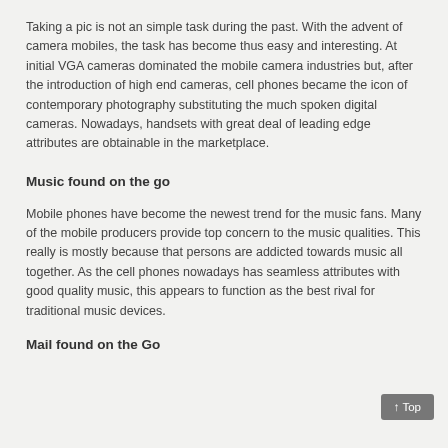Taking a pic is not an simple task during the past. With the advent of camera mobiles, the task has become thus easy and interesting. At initial VGA cameras dominated the mobile camera industries but, after the introduction of high end cameras, cell phones became the icon of contemporary photography substituting the much spoken digital cameras. Nowadays, handsets with great deal of leading edge attributes are obtainable in the marketplace.
Music found on the go
Mobile phones have become the newest trend for the music fans. Many of the mobile producers provide top concern to the music qualities. This really is mostly because that persons are addicted towards music all together. As the cell phones nowadays has seamless attributes with good quality music, this appears to function as the best rival for traditional music devices.
Mail found on the Go